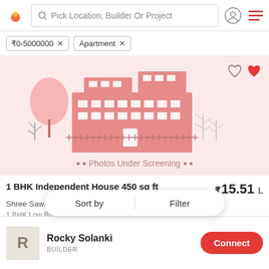Pick Location, Builder Or Project
₹0-5000000 × Apartment ×
[Figure (illustration): Real estate listing app card showing an illustrated apartment building with trees, labeled 'Photos Under Screening'. Heart/favorite icons in top right corner.]
1 BHK Independent House 450 sq ft ₹15.51 L
Shree Sawariya Seth Builder | Dwarkapuri, Indore
1 BHK Low Bu... in D... More
Sort by   Filter
Rocky Solanki BUILDER Connect